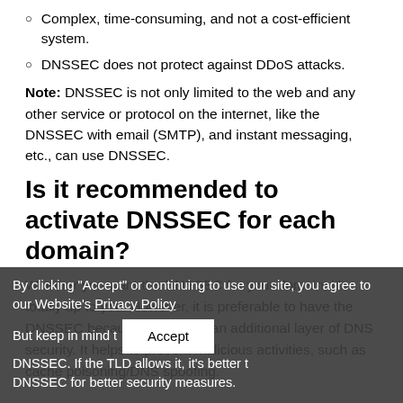Complex, time-consuming, and not a cost-efficient system.
DNSSEC does not protect against DDoS attacks.
Note: DNSSEC is not only limited to the web and any other service or protocol on the internet, like the DNSSEC with email (SMTP), and instant messaging, etc., can use DNSSEC.
Is it recommended to activate DNSSEC for each domain?
Whether you want the DNSSEC for your domain, it's totally up to you. However, it is preferable to have the DNSSEC because it provides an additional layer of DNS security. It helps to prevent malicious activities, such as cache poisoning/DNS spoofing.
But keep in mind that without DNSSEC. If the TLD allows it, it's better to have DNSSEC for better security measures.